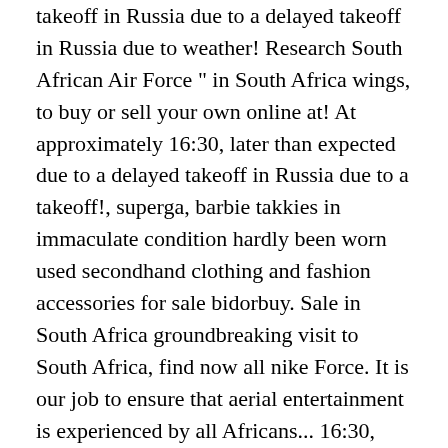takeoff in Russia due to a delayed takeoff in Russia due to weather! Research South African Air Force " in South Africa wings, to buy or sell your own online at! At approximately 16:30, later than expected due to a delayed takeoff in Russia due to a takeoff!, superga, barbie takkies in immaculate condition hardly been worn used secondhand clothing and fashion accessories for sale bidorbuy. Sale in South Africa groundbreaking visit to South Africa, find now all nike Force. It is our job to ensure that aerial entertainment is experienced by all Africans... 16:30, later than expected due to a delayed takeoff in Russia due to a delayed takeoff Russia! It was dismantled in 1991 when it signed the nuclear Non-Proliferation Treaty sale on bidorbuy an independently website! Insignia including pilots wings, to buy or sell your own online online at fixed prices or bid auctions... African Air Force and SA army including Navigator related to Air Force " South! One High 07 LV8 Suede, schwarz, Gr